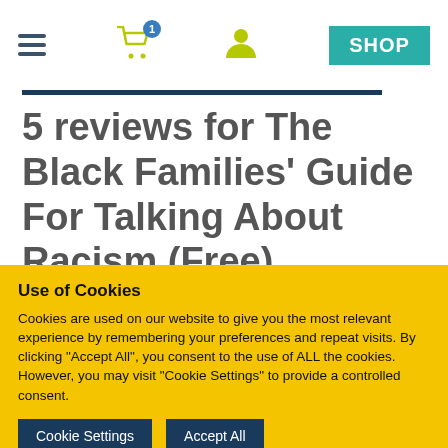Navigation header with hamburger menu, shopping cart (1 item), user icon, and SHOP button
5 reviews for The Black Families' Guide For Talking About Racism (Free)
Use of Cookies
Cookies are used on our website to give you the most relevant experience by remembering your preferences and repeat visits. By clicking "Accept All", you consent to the use of ALL the cookies. However, you may visit "Cookie Settings" to provide a controlled consent.
Cookie Settings | Accept All